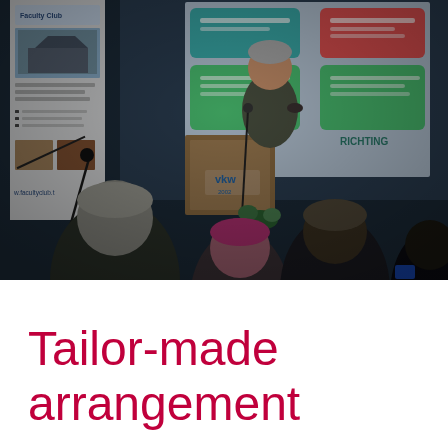[Figure (photo): Conference or seminar scene: a speaker stands at a wooden lectern/podium presenting to an audience. Behind him is a projection screen showing a slide with colored boxes (teal and red/green) with Dutch text. A Faculty Club banner is visible on the left side. Several audience members are seen from behind in the foreground, including people with grey hair, dark hair, and a person in a magenta/pink top. The setting is a dimly lit conference room.]
Tailor-made arrangement